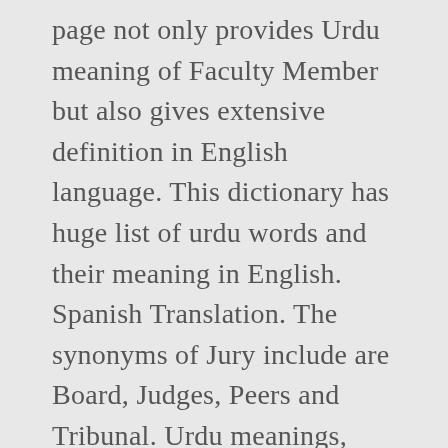page not only provides Urdu meaning of Faculty Member but also gives extensive definition in English language. This dictionary has huge list of urdu words and their meaning in English. Spanish Translation. The synonyms of Jury include are Board, Judges, Peers and Tribunal. Urdu meanings, examples and pronunciation of union. Explore Urdupoint to find out more popular Idioms and Idiom Meanings, to amplify your writings The Urdu Word Ø¬ÙnاÙ·Ù·Øª Ùn ÙnØµÙnÛnÙn Meaning in English is Jury. Member Meaning in Urdu You are seeing urdu meaning of english word Member at Dictionary English to Urdu. This dictionary